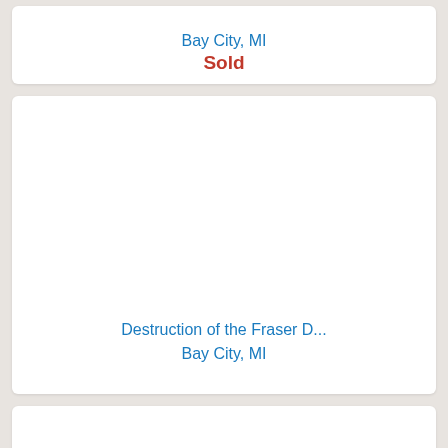Bay City, MI
Sold
[Figure (photo): Large white card area, mostly blank, representing a property listing image placeholder]
Destruction of the Fraser D...
Bay City, MI
[Figure (photo): Partial white card area at bottom, representing another property listing image placeholder]